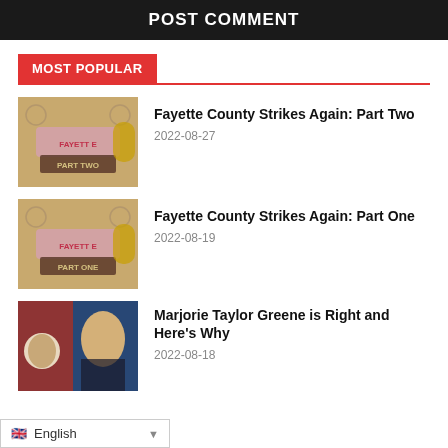POST COMMENT
MOST POPULAR
Fayette County Strikes Again: Part Two
2022-08-27
Fayette County Strikes Again: Part One
2022-08-19
Marjorie Taylor Greene is Right and Here's Why
2022-08-18
English